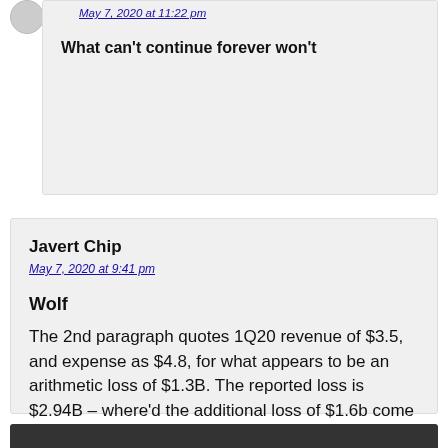May 7, 2020 at 11:22 pm
What can't continue forever won't
Javert Chip
May 7, 2020 at 9:41 pm
Wolf
The 2nd paragraph quotes 1Q20 revenue of $3.5, and expense as $4.8, for what appears to be an arithmetic loss of $1.3B. The reported loss is $2.94B – where'd the additional loss of $1.6b come from?
…be gentle with your explanation, I'm an old guy…